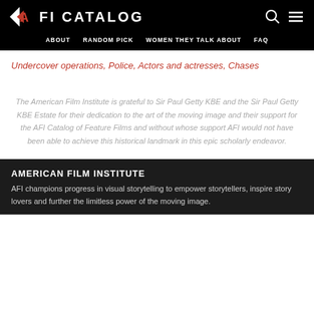AFI CATALOG
ABOUT  RANDOM PICK  WOMEN THEY TALK ABOUT  FAQ
Undercover operations, Police, Actors and actresses, Chases
The American Film Institute is grateful to Sir Paul Getty KBE and the Sir Paul Getty KBE Estate for their dedication to the art of the moving image and their support for the AFI Catalog of Feature Films and without whose support AFI would not have been able to achieve this historical landmark in this epic scholarly endeavor.
AMERICAN FILM INSTITUTE
AFI champions progress in visual storytelling to empower storytellers, inspire story lovers and further the limitless power of the moving image.